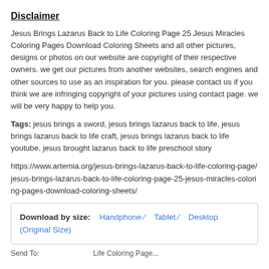Disclaimer
Jesus Brings Lazarus Back to Life Coloring Page 25 Jesus Miracles Coloring Pages Download Coloring Sheets and all other pictures, designs or photos on our website are copyright of their respective owners. we get our pictures from another websites, search engines and other sources to use as an inspiration for you. please contact us if you think we are infringing copyright of your pictures using contact page. we will be very happy to help you.
Tags: jesus brings a sword, jesus brings lazarus back to life, jesus brings lazarus back to life craft, jesus brings lazarus back to life youtube, jesus brought lazarus back to life preschool story
https://www.artemia.org/jesus-brings-lazarus-back-to-life-coloring-page/jesus-brings-lazarus-back-to-life-coloring-page-25-jesus-miracles-coloring-pages-download-coloring-sheets/
| Download by size: | Handphone / | Tablet / | Desktop (Original Size) |